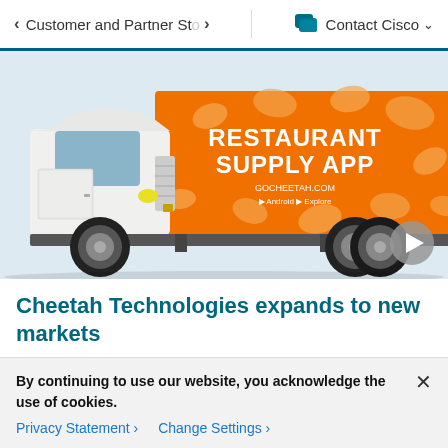< Customer and Partner Sto > | Contact Cisco v
[Figure (photo): A white delivery truck with an orange branded trailer displaying 'RESTAURANT SUPPLY APP' with bean/potato shapes as decorative elements on an orange background]
Cheetah Technologies expands to new markets
With the help of Cisco Security and Port53, Cheetah Technologies adapted when its community needed it the
By continuing to use our website, you acknowledge the use of cookies.
Privacy Statement > Change Settings >